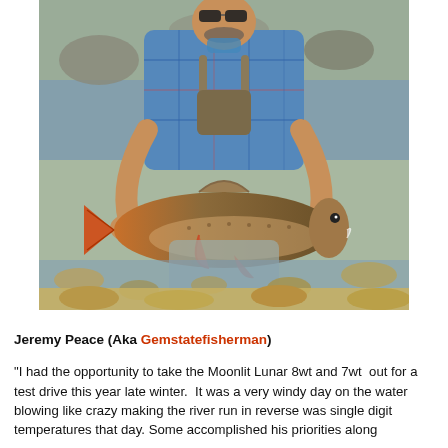[Figure (photo): A man wearing a blue plaid shirt, sunglasses, and fishing waders kneeling in a shallow rocky river holding up a large trout (cutthroat or bull trout) with orange-red fins. Rocky riverbank and clear water visible in background.]
Jeremy Peace (Aka Gemstatefisherman) "I had the opportunity to take the Moonlit Lunar 8wt and 7wt  out for a test drive this year late winter.  It was a very windy day on the water blowing like crazy making the river run in reverse was single digit temperatures that day. Some accomplished his priorities along